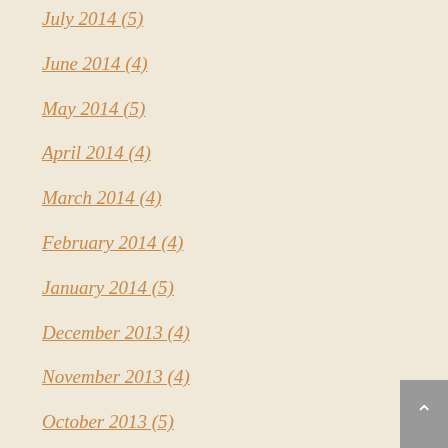July 2014 (5)
June 2014 (4)
May 2014 (5)
April 2014 (4)
March 2014 (4)
February 2014 (4)
January 2014 (5)
December 2013 (4)
November 2013 (4)
October 2013 (5)
September 2013 (4)
August 2013 (5)
July 2013 (4)